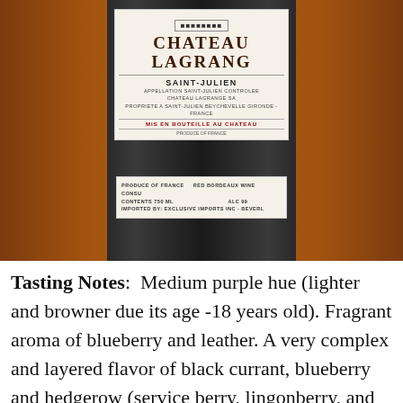[Figure (photo): Close-up photo of a Chateau Lagrange Saint-Julien wine bottle label against a wooden background. The upper label shows 'CHATEAU LAGRANGE', 'SAINT-JULIEN', 'APPELLATION SAINT-JULIEN CONTROLEE', 'MIS EN BOUTEILLE AU CHATEAU'. A lower neck label shows 'PRODUCE OF FRANCE', 'RED BORDEAUX WINE', 'CONTENTS 750 ML', 'IMPORTED BY: EXCLUSIVE IMPORTS INC.']
Tasting Notes:  Medium purple hue (lighter and browner due its age -18 years old). Fragrant aroma of blueberry and leather. A very complex and layered flavor of black currant, blueberry and hedgerow (service berry, lingonberry, and cranberry), all structured with leather, smoke, and some tannin. Note: this wine benefited from decanting it 1 and 1/2